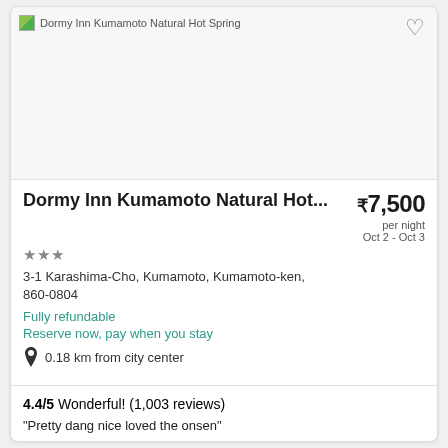[Figure (photo): Hotel image placeholder for Dormy Inn Kumamoto Natural Hot Spring]
Dormy Inn Kumamoto Natural Hot...
★★★
3-1 Karashima-Cho, Kumamoto, Kumamoto-ken, 860-0804
Fully refundable
Reserve now, pay when you stay
0.18 km from city center
4.4/5 Wonderful! (1,003 reviews)
"Pretty dang nice loved the onsen"
Reviewed on Jul 4, 2022